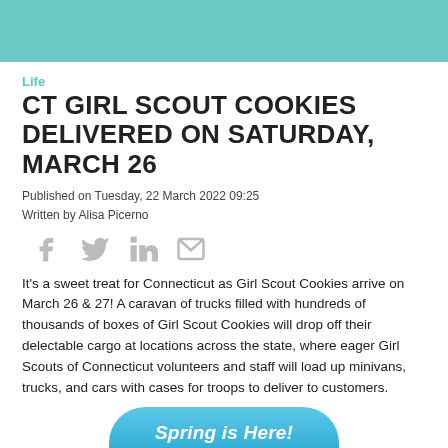Life
CT GIRL SCOUT COOKIES DELIVERED ON SATURDAY, MARCH 26
Published on Tuesday, 22 March 2022 09:25
Written by Alisa Picerno
[Figure (other): Social sharing icons: Facebook, Twitter, LinkedIn, Email]
It's a sweet treat for Connecticut as Girl Scout Cookies arrive on March 26 & 27! A caravan of trucks filled with hundreds of thousands of boxes of Girl Scout Cookies will drop off their delectable cargo at locations across the state, where eager Girl Scouts of Connecticut volunteers and staff will load up minivans, trucks, and cars with cases for troops to deliver to customers.
[Figure (illustration): Spring is Here! banner image with teal rounded top, white italic text]